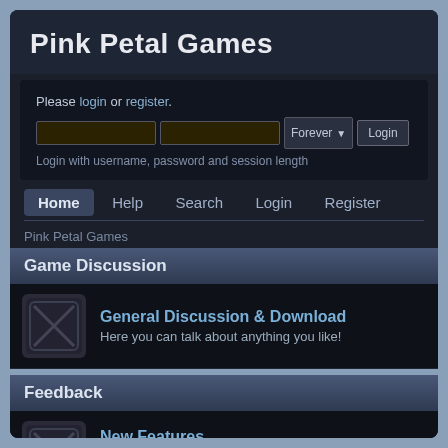Pink Petal Games
Please login or register.
Login with username, password and session length
Home  Help  Search  Login  Register
Pink Petal Games
Game Discussion
General Discussion & Download
Here you can talk about anything you like!
Feedback
New Features
Place ideas and suggestions you would like to see in a future release here.